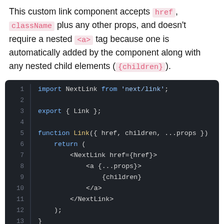This custom link component accepts href, className plus any other props, and doesn't require a nested <a> tag because one is automatically added by the component along with any nested child elements ( {children} ).
[Figure (screenshot): Code block showing a JavaScript/JSX module that imports NextLink and exports a Link function component accepting href, children, and ...props, returning a NextLink element wrapping an <a> tag with spread props and children.]